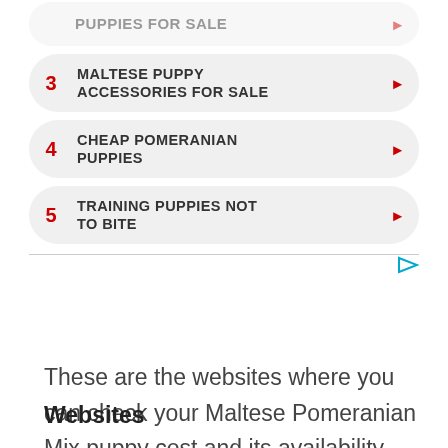[Figure (infographic): Numbered ad list widget showing items 3-5: 3. MALTESE PUPPY ACCESSORIES FOR SALE, 4. CHEAP POMERANIAN PUPPIES, 5. TRAINING PUPPIES NOT TO BITE, each in a rounded gray pill with red number and red arrow, followed by a divider line with a teal play icon]
These are the websites where you can check your Maltese Pomeranian Mix puppy cost and its availability near your location.
Websites